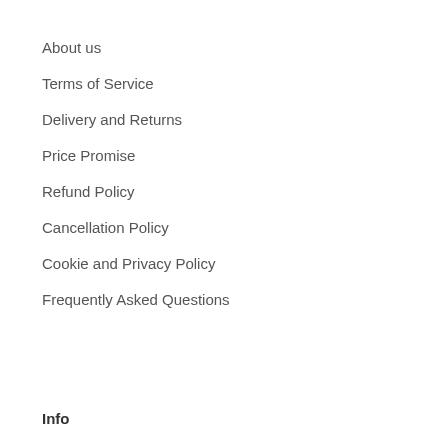About us
Terms of Service
Delivery and Returns
Price Promise
Refund Policy
Cancellation Policy
Cookie and Privacy Policy
Frequently Asked Questions
Info